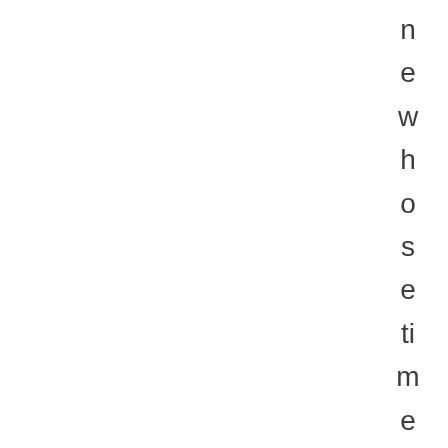n e w h o s e t i m e h a s c o m e